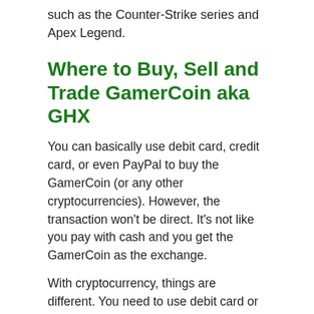such as the Counter-Strike series and Apex Legend.
Where to Buy, Sell and Trade GamerCoin aka GHX
You can basically use debit card, credit card, or even PayPal to buy the GamerCoin (or any other cryptocurrencies). However, the transaction won't be direct. It's not like you pay with cash and you get the GamerCoin as the exchange.
With cryptocurrency, things are different. You need to use debit card or credit card to buy Tether first. After you get the ETH or BTC or USDT, you can convert it to GamerCoin. It takes several stages and processes. You need to gain access to the reputable cryptocurrency